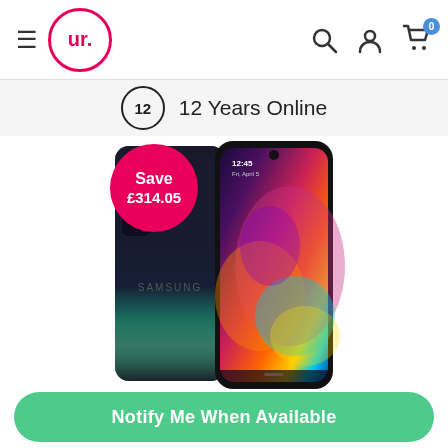[Figure (screenshot): Mobile website header with hamburger menu, ur. logo in pink circle, search icon, account icon, and cart icon with badge showing 0]
12 Years Online
[Figure (photo): Samsung Galaxy A70 smartphone shown from front and back, with a pink circular badge showing 'Save £314.05']
Notify Me When Available